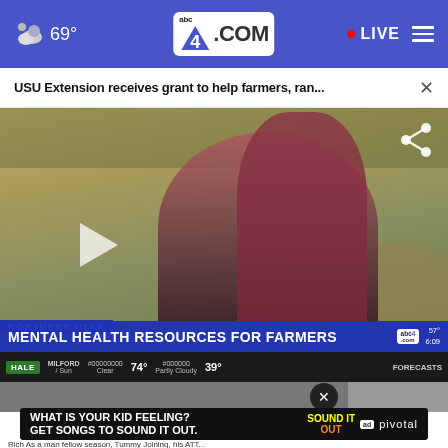69° abc4.com LIVE
USU Extension receives grant to help farmers, ran... ×
[Figure (screenshot): TV news video screenshot showing a couple embracing outdoors with dry grassy hills in background. Lower third chyron reads 'NORTHERN UTAH - MENTAL HEALTH RESOURCES FOR FARMERS' on ABC4 news. Weather strip shows Milford Sun Clear 74°, Partly Cloudy 39°, FORECASTS. Play button visible on left side. Share icon top right.]
[Figure (photo): Partial view of a secondary video or image strip below the main video]
[Figure (screenshot): Advertisement banner: WHAT IS YOUR KID FEELING? GET SONGS TO SOUND IT OUT. - Sound It Out / Ad Council / pivotal]
Rich As a man fellow season, Tummy Joining, his ATT... O